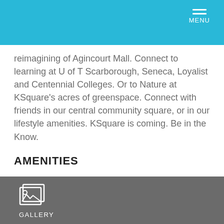MENU
reimagining of Agincourt Mall. Connect to learning at U of T Scarborough, Seneca, Loyalist and Centennial Colleges. Or to Nature at KSquare's acres of greenspace. Connect with friends in our central community square, or in our lifestyle amenities. KSquare is coming. Be in the Know.
AMENITIES
Library/Study Room
Music Rehearsal Space
Dining Areas with Catering Kitchen
Rooftop Terrace
24 Hour Concierge Service
Kids Room
Pet Grooming Station
GALLERY